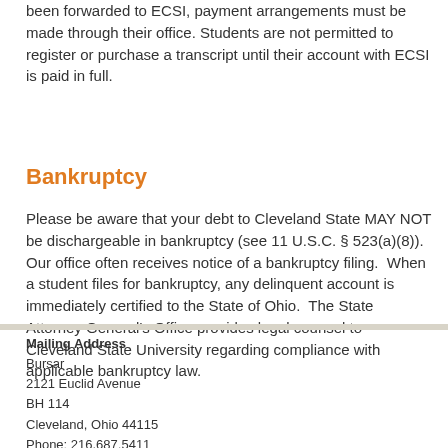been forwarded to ECSI, payment arrangements must be made through their office. Students are not permitted to register or purchase a transcript until their account with ECSI is paid in full.
Bankruptcy
Please be aware that your debt to Cleveland State MAY NOT be dischargeable in bankruptcy (see 11 U.S.C. § 523(a)(8)).  Our office often receives notice of a bankruptcy filing.  When a student files for bankruptcy, any delinquent account is immediately certified to the State of Ohio.  The State Attorney General's Office provides legal counsel to Cleveland State University regarding compliance with applicable bankruptcy law.
Mailing Address
Bursar
2121 Euclid Avenue
BH 114
Cleveland, Ohio 44115
Phone: 216.687.5411
Fax: 216-687-3500